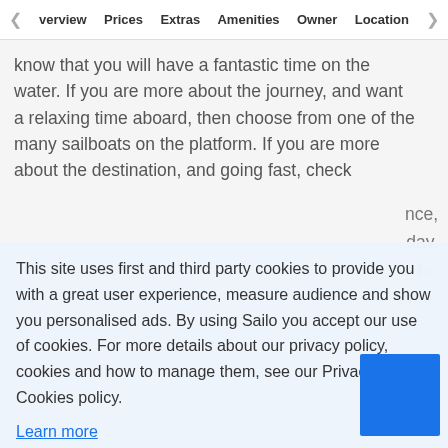Overview  Prices  Extras  Amenities  Owner  Location
know that you will have a fantastic time on the water. If you are more about the journey, and want a relaxing time aboard, then choose from one of the many sailboats on the platform. If you are more about the destination, and going fast, check
This site uses first and third party cookies to provide you with a great user experience, measure audience and show you personalised ads. By using Sailo you accept our use of cookies. For more details about our privacy policy, cookies and how to manage them, see our Privacy and Cookies policy.
Learn more
Got it!